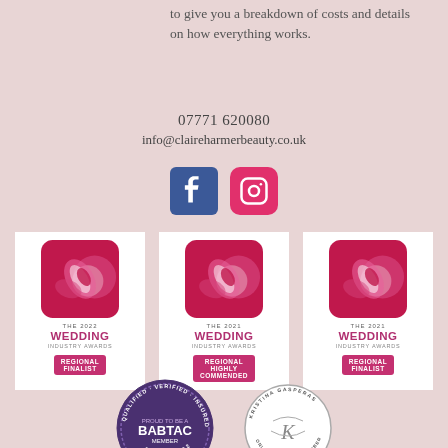to give you a breakdown of costs and details on how everything works.
07771 620080
info@claireharmerbeauty.co.uk
[Figure (logo): Facebook and Instagram social media icons]
[Figure (logo): The 2022 Wedding Industry Awards - Regional Finalist badge]
[Figure (logo): The 2021 Wedding Industry Awards - Regional Highly Commended badge]
[Figure (logo): The 2021 Wedding Industry Awards - Regional Finalist badge]
[Figure (logo): BABTAC Member badge - Qualified, Verified, Insured, Proud to be a BABTAC Member 2021-2022]
[Figure (logo): Kristina Gasperas Online Academy Member circular logo]